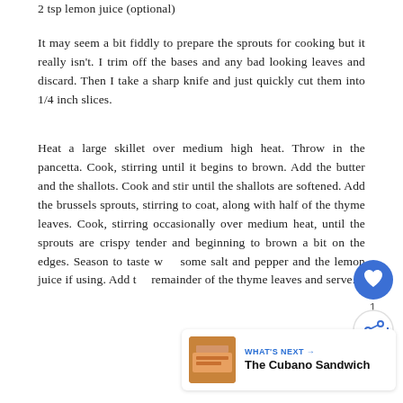2 tsp lemon juice (optional)
It may seem a bit fiddly to prepare the sprouts for cooking but it really isn't. I trim off the bases and any bad looking leaves and discard. Then I take a sharp knife and just quickly cut them into 1/4 inch slices.
Heat a large skillet over medium high heat. Throw in the pancetta. Cook, stirring until it begins to brown. Add the butter and the shallots. Cook and stir until the shallots are softened. Add the brussels sprouts, stirring to coat, along with half of the thyme leaves. Cook, stirring occasionally over medium heat, until the sprouts are crispy tender and beginning to brown a bit on the edges. Season to taste with some salt and pepper and the lemon juice if using. Add the remainder of the thyme leaves and serve.
[Figure (other): Heart/like button icon (blue circle with white heart), count label '1', and share button icon (white circle with blue share icon)]
[Figure (other): What's Next promo banner showing a food photo thumbnail and text 'WHAT'S NEXT → The Cubano Sandwich']